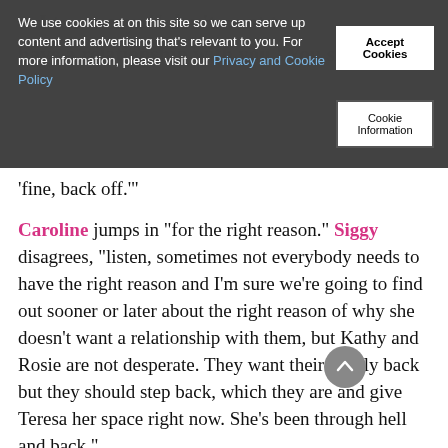We use cookies at on this site so we can serve up content and advertising that's relevant to you. For more information, please visit our Privacy and Cookie Policy
Accept Cookies
Cookie Information
'fine, back off.'
Caroline jumps in "for the right reason." Siggy disagrees, "listen, sometimes not everybody needs to have the right reason and I'm sure we're going to find out sooner or later about the right reason of why she doesn't want a relationship with them, but Kathy and Rosie are not desperate. They want their family back but they should step back, which they are and give Teresa her space right now. She's been through hell and back."